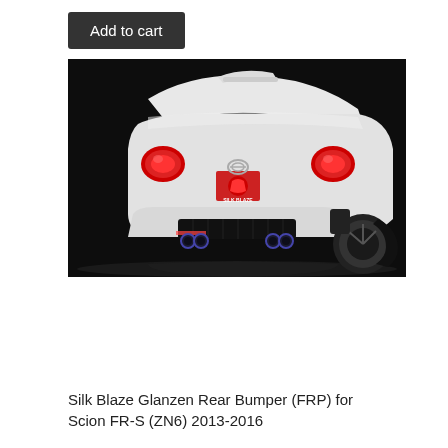Add to cart
[Figure (photo): Rear view of a white Toyota/Scion FR-S sports car with aftermarket Silk Blaze Glanzen rear bumper (FRP), showing blue-tipped quad exhaust pipes and carbon fiber diffuser, photographed against a dark background.]
Silk Blaze Glanzen Rear Bumper (FRP) for Scion FR-S (ZN6) 2013-2016